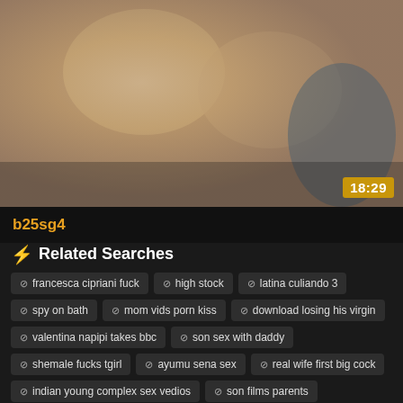[Figure (screenshot): Video thumbnail showing adult content with timestamp 18:29]
b25sg4
⚡ Related Searches
francesca cipriani fuck
high stock
latina culiando 3
spy on bath
mom vids porn kiss
download losing his virgin
valentina napipi takes bbc
son sex with daddy
shemale fucks tgirl
ayumu sena sex
real wife first big cock
indian young complex sex vedios
son films parents
horny milf cheat
trunnam khan kohli
virgin sexo videos
big boobs grl porn
anty famaly
bonnie rotten backstage